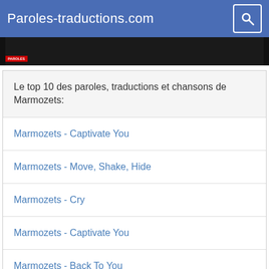Paroles-traductions.com
[Figure (photo): Dark background image strip with a small red label at bottom left]
Le top 10 des paroles, traductions et chansons de Marmozets:
Marmozets - Captivate You
Marmozets - Move, Shake, Hide
Marmozets - Cry
Marmozets - Captivate You
Marmozets - Back To You
Marmozets - Is It Horrible
Marmozets - Vibetech